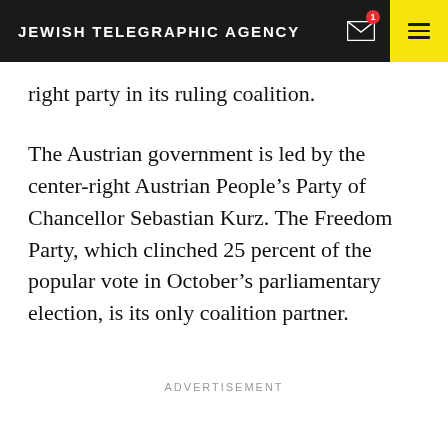JEWISH TELEGRAPHIC AGENCY
right party in its ruling coalition.
The Austrian government is led by the center-right Austrian People’s Party of Chancellor Sebastian Kurz. The Freedom Party, which clinched 25 percent of the popular vote in October’s parliamentary election, is its only coalition partner.
ADVERTISEMENT